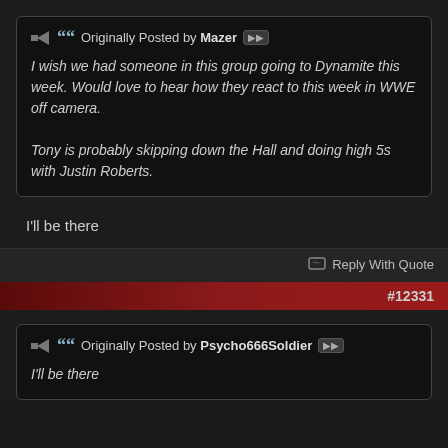Originally Posted by Mazer — I wish we had someone in this group going to Dynamite this week. Would love to hear how they react to this week in WWE off camera. Tony is probably skipping down the Hall and doing high 5s with Justin Roberts.
I'll be there
Reply With Quote
#12331
Originally Posted by Psycho666Soldier — I'll be there